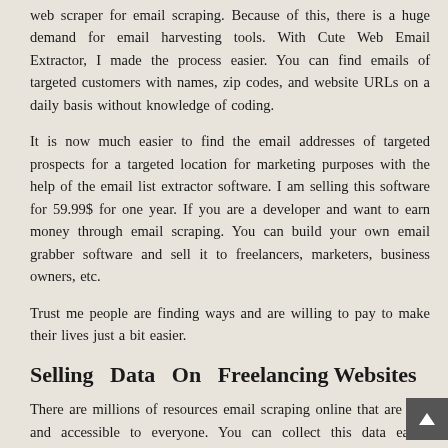web scraper for email scraping. Because of this, there is a huge demand for email harvesting tools. With Cute Web Email Extractor, I made the process easier. You can find emails of targeted customers with names, zip codes, and website URLs on a daily basis without knowledge of coding.
It is now much easier to find the email addresses of targeted prospects for a targeted location for marketing purposes with the help of the email list extractor software. I am selling this software for 59.99$ for one year. If you are a developer and want to earn money through email scraping. You can build your own email grabber software and sell it to freelancers, marketers, business owners, etc.
Trust me people are finding ways and are willing to pay to make their lives just a bit easier.
Selling Data On Freelancing Websites
There are millions of resources email scraping online that are free and accessible to everyone. You can collect this data easily manually if the requirement is small and thereby offer